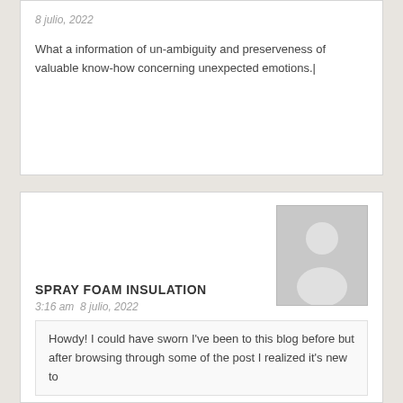8 julio, 2022
What a information of un-ambiguity and preserveness of valuable know-how concerning unexpected emotions.|
[Figure (illustration): Generic user avatar silhouette placeholder image with gray background]
SPRAY FOAM INSULATION
3:16 am  8 julio, 2022
Howdy! I could have sworn I've been to this blog before but after browsing through some of the post I realized it's new to